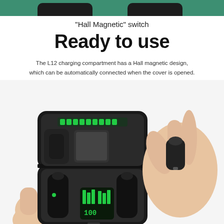[Figure (photo): Top banner showing two wireless earbuds on a teal/green background, partially visible at the top of the page]
"Hall Magnetic" switch
Ready to use
The L12 charging compartment has a Hall magnetic design, which can be automatically connected when the cover is opened.
[Figure (photo): Product photo showing two hands: left hand holding open a black L12 TWS earbuds charging case with LED display showing battery level (100) and green battery indicators, with earbuds seated inside; right hand holding a single earbud between fingers. White background.]